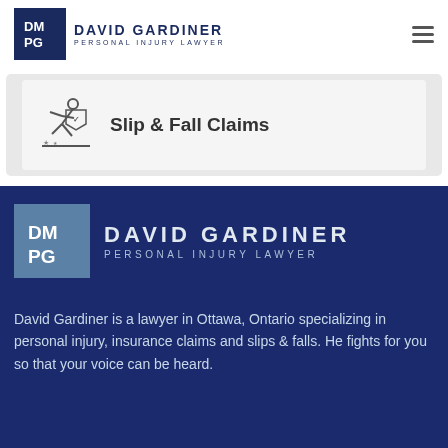[Figure (logo): David Gardiner Personal Injury Lawyer logo — dark blue square with DM PG initials, followed by firm name in dark blue]
Slip & Fall Claims
[Figure (logo): David Gardiner Personal Injury Lawyer logo — steel blue square with DM PG initials, followed by firm name in light blue/white on dark navy background]
David Gardiner is a lawyer in Ottawa, Ontario specializing in personal injury, insurance claims and slips & falls. He fights for you so that your voice can be heard.